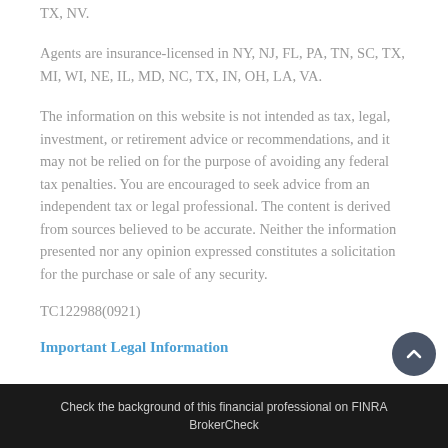TX, NV.
Agents are insurance-licensed in NY, NJ, FL, PA, TN, SC, TX, MI, WI, NE, IL, MD, NC, TX, IN, OH, LA, VA.
The information on this website is not intended as tax, legal, investment, or retirement advice or recommendations, and it may not be relied on for the purpose of avoiding any federal tax penalties. You are encouraged to seek advice from an independent tax or legal professional. The content is derived from sources believed to be accurate. Neither the information presented nor any opinion expressed constitutes a solicitation for the purchase or sale of any security.
TC122988(0921)
Important Legal Information
Check the background of this financial professional on FINRA BrokerCheck